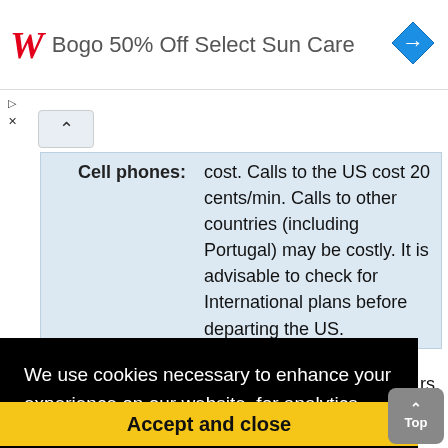[Figure (screenshot): Walgreens ad banner: red W logo, text 'Bogo 50% Off Select Sun Care', blue diamond navigation icon]
| Cell phones: | cost. Calls to the US cost 20 cents/min. Calls to other countries (including Portugal) may be costly. It is advisable to check for International plans before departing the US. |
We use cookies necessary to enhance your experience on our website, for analytics and third-party sites. By clicking "Accept", you agree to our use of cookies. Learn more
Accept and close